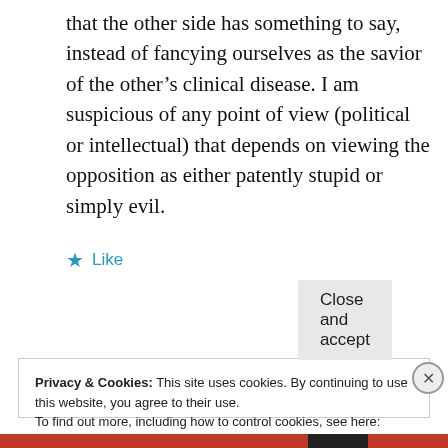that the other side has something to say, instead of fancying ourselves as the savior of the other’s clinical disease. I am suspicious of any point of view (political or intellectual) that depends on viewing the opposition as either patently stupid or simply evil.
★ Like
Reply
Privacy & Cookies: This site uses cookies. By continuing to use this website, you agree to their use.
To find out more, including how to control cookies, see here:
Cookie Policy
Close and accept